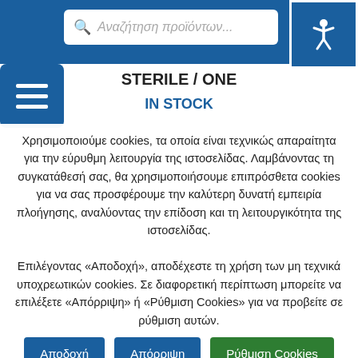Αναζήτηση προϊόντων...
STERILE / ONE
IN STOCK
Χρησιμοποιούμε cookies, τα οποία είναι τεχνικώς απαραίτητα για την εύρυθμη λειτουργία της ιστοσελίδας. Λαμβάνοντας τη συγκατάθεσή σας, θα χρησιμοποιήσουμε επιπρόσθετα cookies για να σας προσφέρουμε την καλύτερη δυνατή εμπειρία πλοήγησης, αναλύοντας την επίδοση και τη λειτουργικότητα της ιστοσελίδας. Επιλέγοντας «Αποδοχή», αποδέχεστε τη χρήση των μη τεχνικά υποχρεωτικών cookies. Σε διαφορετική περίπτωση μπορείτε να επιλέξετε «Απόρριψη» ή «Ρύθμιση Cookies» για να προβείτε σε ρύθμιση αυτών.
Αποδοχή
Απόρριψη
Ρύθμιση Cookies